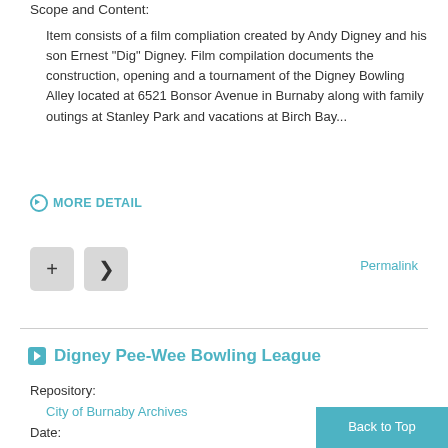Scope and Content:
Item consists of a film compliation created by Andy Digney and his son Ernest "Dig" Digney. Film compilation documents the construction, opening and a tournament of the Digney Bowling Alley located at 6521 Bonsor Avenue in Burnaby along with family outings at Stanley Park and vacations at Birch Bay...
▶ MORE DETAIL
+ (button)
< (share button)
Permalink
Digney Pee-Wee Bowling League
Repository:
City of Burnaby Archives
Date:
Back to Top